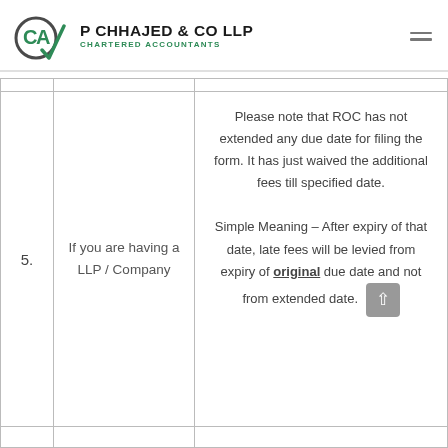[Figure (logo): P Chhajed & Co LLP Chartered Accountants logo with CA emblem in green and dark grey]
|  |  |
| --- | --- |
| 5. | If you are having a LLP / Company | Please note that ROC has not extended any due date for filing the form. It has just waived the additional fees till specified date.

Simple Meaning – After expiry of that date, late fees will be levied from expiry of original due date and not from extended date. |